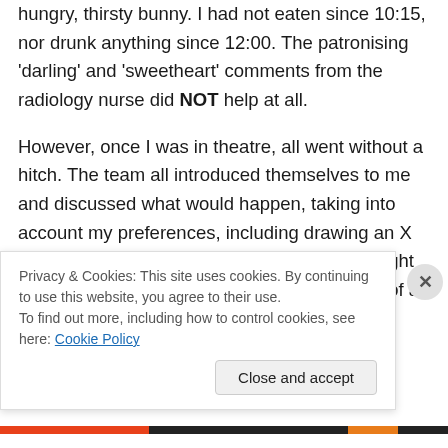hungry, thirsty bunny. I had not eaten since 10:15, nor drunk anything since 12:00. The patronising 'darling' and 'sweetheart' comments from the radiology nurse did NOT help at all.
However, once I was in theatre, all went without a hitch. The team all introduced themselves to me and discussed what would happen, taking into account my preferences, including drawing an X to mark the preferred exit spot on my upper right breast. I really appreciated the good practice of an inclusive and respectful conversation.
Privacy & Cookies: This site uses cookies. By continuing to use this website, you agree to their use. To find out more, including how to control cookies, see here: Cookie Policy